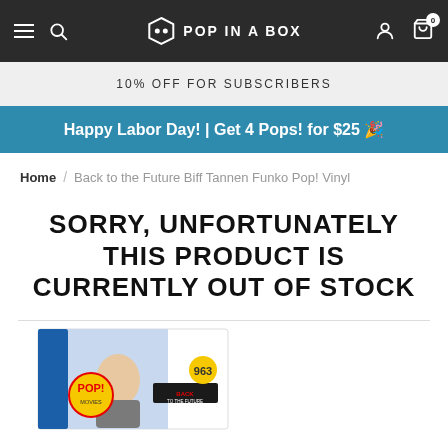POP IN A BOX
10% OFF FOR SUBSCRIBERS
Happy Labor Day! | Get 4 Pops! for $25 🎉
Home / Back to the Future Biff Tannen Funko Pop! Vinyl
SORRY, UNFORTUNATELY THIS PRODUCT IS CURRENTLY OUT OF STOCK
[Figure (photo): Back to the Future Biff Tannen Funko Pop! Vinyl product box #963]